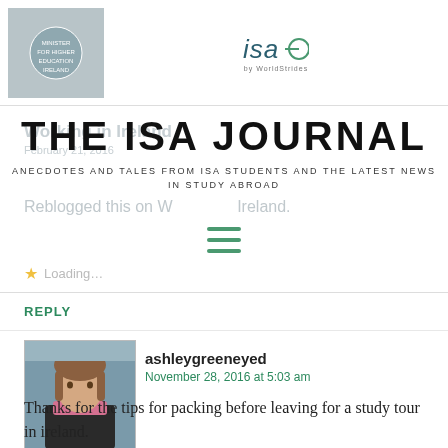[Figure (logo): ISA study abroad logo with circular emblem on left, ISA by WorldStrides logo centered at top]
THE ISA JOURNAL
ANECDOTES AND TALES FROM ISA STUDENTS AND THE LATEST NEWS IN STUDY ABROAD
Working in Ireland
February 21, 2016
Reblogged this on Working in Ireland.
Loading…
REPLY
[Figure (photo): Profile photo of ashleygreeneyed, a young woman with light brown hair and a pink scarf]
ashleygreeneyed
November 28, 2016 at 5:03 am
Thanks for the tips for packing before leaving for a study tour in ireland.